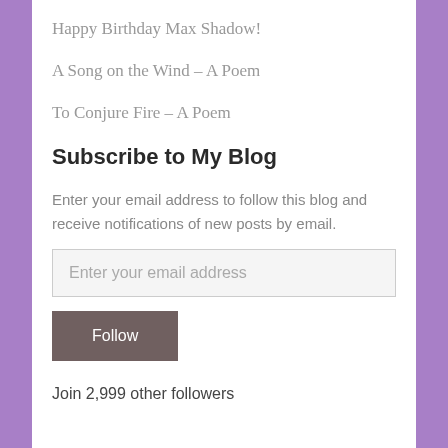Happy Birthday Max Shadow!
A Song on the Wind – A Poem
To Conjure Fire – A Poem
Subscribe to My Blog
Enter your email address to follow this blog and receive notifications of new posts by email.
Enter your email address
Follow
Join 2,999 other followers